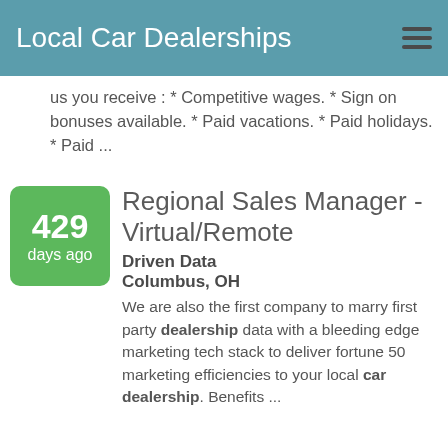Local Car Dealerships
us you receive : * Competitive wages. * Sign on bonuses available. * Paid vacations. * Paid holidays. * Paid ...
429 days ago
Regional Sales Manager - Virtual/Remote
Driven Data
Columbus, OH
We are also the first company to marry first party dealership data with a bleeding edge marketing tech stack to deliver fortune 50 marketing efficiencies to your local car dealership. Benefits ...
5 days ago
Manager Trainee
Menards